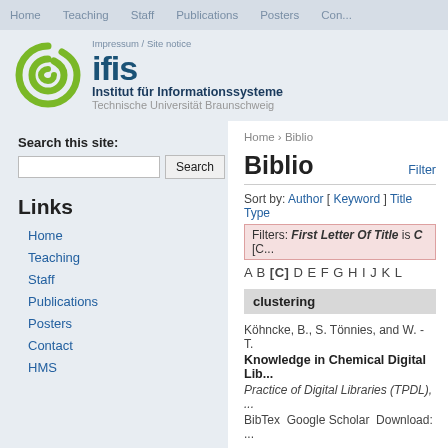Home  Teaching  Staff  Publications  Posters  Con...
[Figure (logo): IFIS Institut für Informationssysteme logo with green spiral and blue text]
Impressum / Site notice
Search this site:
Links
Home
Teaching
Staff
Publications
Posters
Contact
HMS
Home › Biblio
Biblio
Filter
Sort by: Author [ Keyword ] Title Type
Filters: First Letter Of Title is C  [C...
A B [C] D E F G H I J K L
clustering
Köhncke, B., S. Tönnies, and W. - T.
Knowledge in Chemical Digital Lib...
Practice of Digital Libraries (TPDL), ...
BibTex  Google Scholar  Download: ...